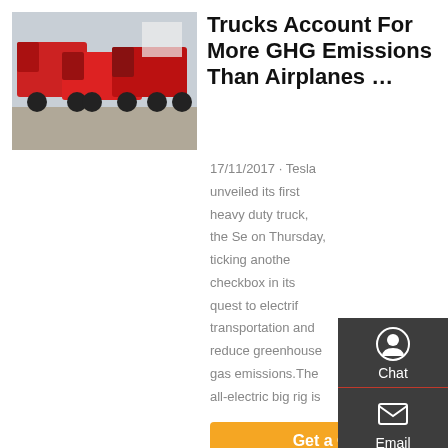[Figure (photo): Red heavy duty trucks parked in a yard]
Trucks Account For More GHG Emissions Than Airplanes ...
17/11/2017 · Tesla unveiled its first heavy duty truck, the Se on Thursday, ticking anothe checkbox in its quest to electrif transportation and reduce greenhouse gas emissions.The all-electric big rig is
Get a Quote
[Figure (photo): Blue dump trucks in a field]
Efficiente Traino Vendita Con ...